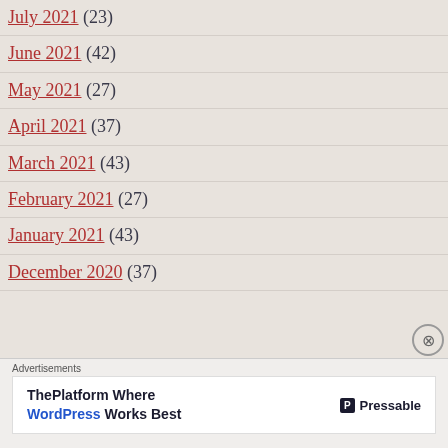July 2021 (23)
June 2021 (42)
May 2021 (27)
April 2021 (37)
March 2021 (43)
February 2021 (27)
January 2021 (43)
December 2020 (37)
Advertisements
[Figure (other): Pressable advertisement banner: ThePlatform Where WordPress Works Best]